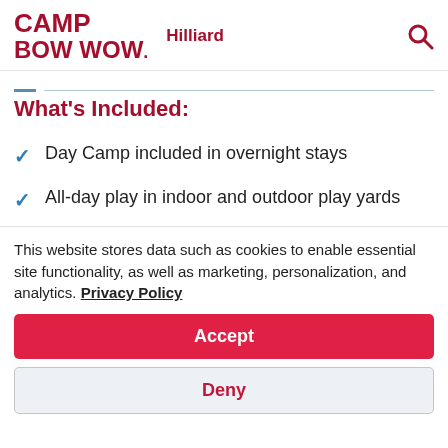CAMP BOW WOW. Hilliard
What's Included:
Day Camp included in overnight stays
All-day play in indoor and outdoor play yards
This website stores data such as cookies to enable essential site functionality, as well as marketing, personalization, and analytics. Privacy Policy
Accept
Deny